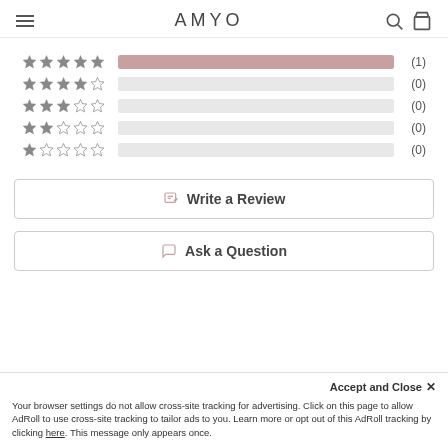AMYO
[Figure (bar-chart): Rating distribution]
Write a Review
Ask a Question
Accept and Close ✕
Your browser settings do not allow cross-site tracking for advertising. Click on this page to allow AdRoll to use cross-site tracking to tailor ads to you. Learn more or opt out of this AdRoll tracking by clicking here. This message only appears once.